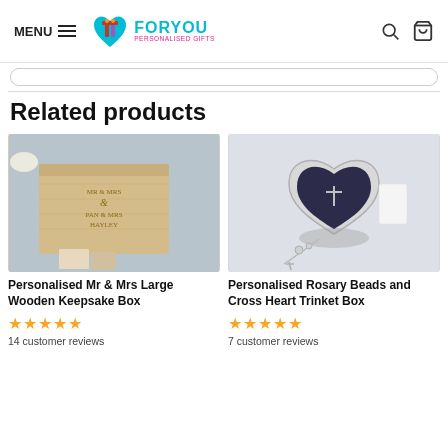MENU | FORYOU PERSONALISED GIFTS
Related products
[Figure (photo): Personalised wooden keepsake box engraved with Mr & Mrs names, surrounded by flowers and photos]
Personalised Mr & Mrs Large Wooden Keepsake Box
14 customer reviews
[Figure (photo): Personalised silver heart-shaped trinket box with cross engraving and rosary beads]
Personalised Rosary Beads and Cross Heart Trinket Box
7 customer reviews